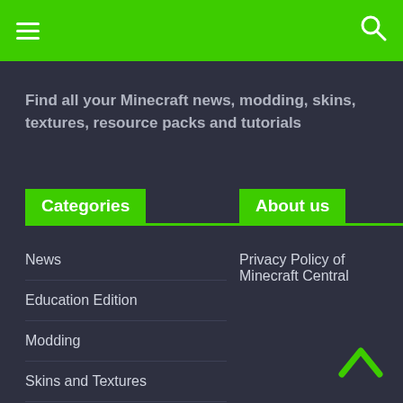Navigation bar with hamburger menu and search icon
Find all your Minecraft news, modding, skins, textures, resource packs and tutorials
Categories
News
Education Edition
Modding
Skins and Textures
Resource Packs
Tutorials and Guides
About us
Privacy Policy of Minecraft Central